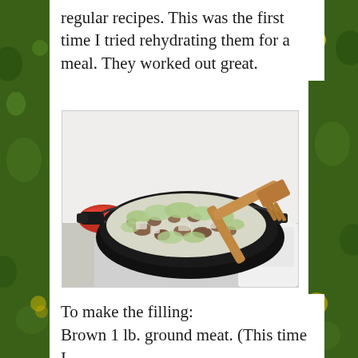regular recipes. This was the first time I tried rehydrating them for a meal. They worked out great.
[Figure (photo): A large black cast-iron wok or pan on a stovetop filled with chopped cabbage, ground meat, and other vegetables, being stirred with a wooden fork/spatula.]
To make the filling:
Brown 1 lb. ground meat. (This time I